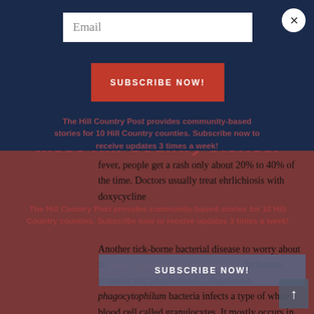[Figure (screenshot): Website overlay/popup with dark navy background containing an email subscription modal. Behind the modal, article text about tick-borne diseases (ehrlichiosis, human granulocytic anaplasmosis) is visible with a red/dark overlay. The modal has a white email input field, a red SUBSCRIBE NOW! button, and a close (X) button. A second SUBSCRIBE NOW! strip appears in the article body area. A scroll-to-top arrow button is in the bottom right.]
Email
SUBSCRIBE NOW!
The Hill Country Post provides community-based stories for 10 Hill Country counties. Subscribe now to receive updates 3 times a week!
fever, people get a rash only about 20% to 40% of the time. Doctors usually treat ehrlichiosis with doxycycline
Another tick-borne bacterial disease to worry about is human granulocytic anaplasmosis. In human granulocytic anaplasmosis, Anaplasma phagocytophilum bacteria infects a type of white blood cell called granulocytes. It mostly occurs in the upper midwestern and northeastern U.S., and the incidence is increasing, with 5,762 cases of human granulocytic anaplasmosis reported to the CDC in 2017.
SUBSCRIBE NOW!